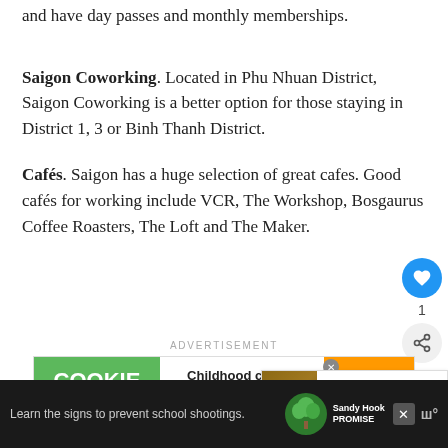and have day passes and monthly memberships.
Saigon Coworking. Located in Phu Nhuan District, Saigon Coworking is a better option for those staying in District 1, 3 or Binh Thanh District.
Cafés. Saigon has a huge selection of great cafes. Good cafés for working include VCR, The Workshop, Bosgaurus Coffee Roasters, The Loft and The Maker.
[Figure (screenshot): Advertisement banner: Cookie Dough / Childhood cancer didn't stop for COVID-19 / cookies for kids cancer]
[Figure (screenshot): What's Next panel: Travel Guide to Visit...]
[Figure (screenshot): Bottom advertisement bar: Learn the signs to prevent school shootings. Sandy Hook Promise logo.]